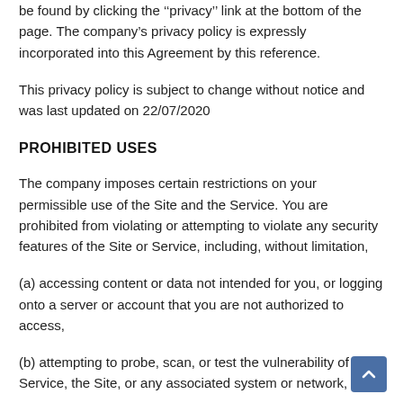be found by clicking the ''privacy'' link at the bottom of the page. The company's privacy policy is expressly incorporated into this Agreement by this reference.
This privacy policy is subject to change without notice and was last updated on 22/07/2020
PROHIBITED USES
The company imposes certain restrictions on your permissible use of the Site and the Service. You are prohibited from violating or attempting to violate any security features of the Site or Service, including, without limitation,
(a) accessing content or data not intended for you, or logging onto a server or account that you are not authorized to access,
(b) attempting to probe, scan, or test the vulnerability of the Service, the Site, or any associated system or network, or to